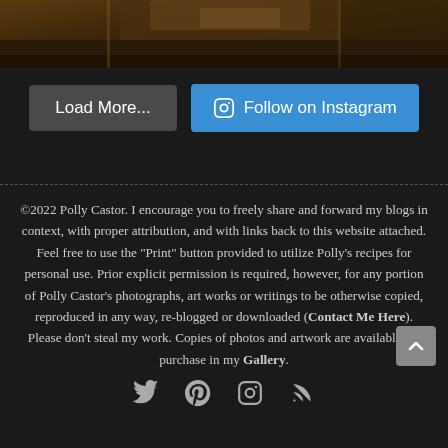[Figure (photo): Partial top edge of a photograph showing agricultural machinery on dark soil, cropped at top]
Load More...
Follow on Instagram
©2022 Polly Castor. I encourage you to freely share and forward my blogs in context, with proper attribution, and with links back to this website attached. Feel free to use the "Print" button provided to utilize Polly's recipes for personal use. Prior explicit permission is required, however, for any portion of Polly Castor's photographs, art works or writings to be otherwise copied, reproduced in any way, re-blogged or downloaded (Contact Me Here). Please don't steal my work. Copies of photos and artwork are available for purchase in my Gallery.